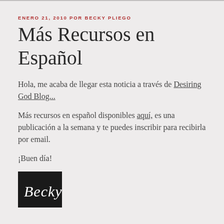ENERO 21, 2010 POR BECKY PLIEGO
Más Recursos en Español
Hola, me acaba de llegar esta noticia a través de Desiring God Blog...
Más recursos en español disponibles aquí, es una publicación a la semana y te puedes inscribir para recibirla por email.
¡Buen día!
[Figure (illustration): Handwritten signature 'Becky' in white script on black background]